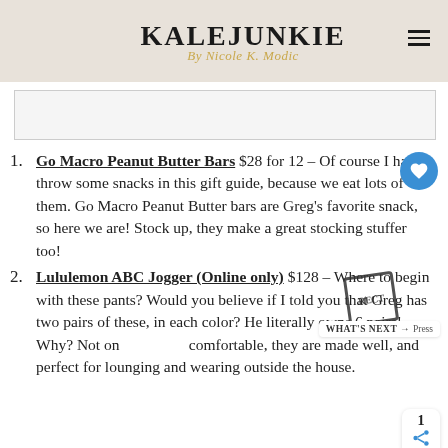KALEJUNKIE By Nicole K. Modic
[Figure (photo): Partial image placeholder, white/light gray rectangle]
1. Go Macro Peanut Butter Bars $28 for 12 – Of course I had to throw some snacks in this gift guide, because we eat lots of them. Go Macro Peanut Butter bars are Greg's favorite snack, so here we are! Stock up, they make a great stocking stuffer too!
2. Lululemon ABC Jogger (Online only) $128 – Where to begin with these pants? Would you believe if I told you that Greg has two pairs of these, in each color? He literally owns 6 pairs! Why? Not only are they comfortable, they are made well, and perfect for lounging and wearing outside the house.